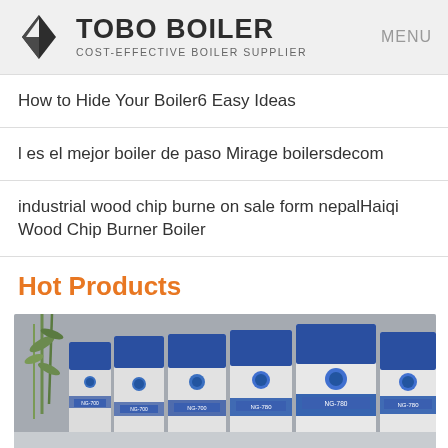TOBO BOILER COST-EFFECTIVE BOILER SUPPLIER | MENU
How to Hide Your Boiler6 Easy Ideas
l es el mejor boiler de paso Mirage boilersdecom
industrial wood chip burne on sale form nepalHaiqi Wood Chip Burner Boiler
Hot Products
[Figure (photo): Row of blue and white industrial boiler units labeled NG-700 and NG-780 arranged outdoors with bamboo plants and a stone wall background]